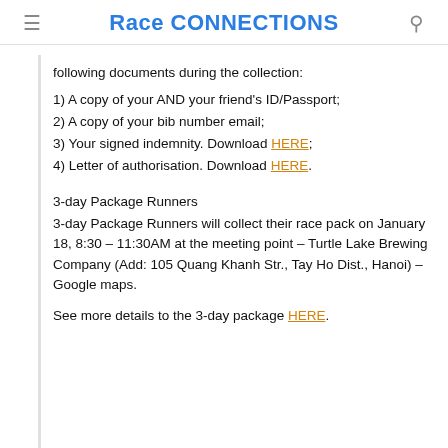Race CONNECTIONS
following documents during the collection:
1) A copy of your AND your friend's ID/Passport;
2) A copy of your bib number email;
3) Your signed indemnity. Download HERE;
4) Letter of authorisation. Download HERE.
3-day Package Runners
3-day Package Runners will collect their race pack on January 18, 8:30 – 11:30AM at the meeting point – Turtle Lake Brewing Company (Add: 105 Quang Khanh Str., Tay Ho Dist., Hanoi) – Google maps.
See more details to the 3-day package HERE.